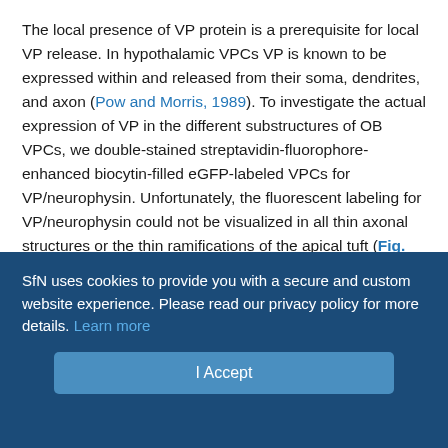The local presence of VP protein is a prerequisite for local VP release. In hypothalamic VPCs VP is known to be expressed within and released from their soma, dendrites, and axon (Pow and Morris, 1989). To investigate the actual expression of VP in the different substructures of OB VPCs, we double-stained streptavidin-fluorophore-enhanced biocytin-filled eGFP-labeled VPCs for VP/neurophysin. Unfortunately, the fluorescent labeling for VP/neurophysin could not be visualized in all thin axonal structures or the thin ramifications of the apical tuft (Fig. 3A,B). However, the double-staining clearly demonstrated that VP/neurophysin is expressed in the lateral dendrites and the origins of axonal structures (Fig. 3A2,B1,B2) as well as in the proximal thick branches of the apical dendrite and the secondary ramifications
SfN uses cookies to provide you with a secure and custom website experience. Please read our privacy policy for more details. Learn more